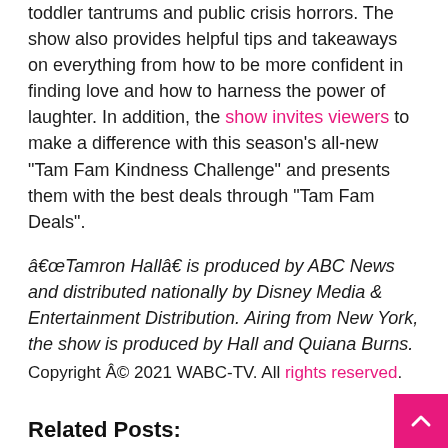toddler tantrums and public crisis horrors. The show also provides helpful tips and takeaways on everything from how to be more confident in finding love and how to harness the power of laughter. In addition, the show invites viewers to make a difference with this season's all-new "Tam Fam Kindness Challenge" and presents them with the best deals through "Tam Fam Deals".
“Tamron Hall” is produced by ABC News and distributed nationally by Disney Media & Entertainment Distribution. Airing from New York, the show is produced by Hall and Quiana Burns.
Copyright Â© 2021 WABC-TV. All rights reserved.
Related Posts:
"Tamron Hall" daytime talk show renewed for seasons 4 and 5